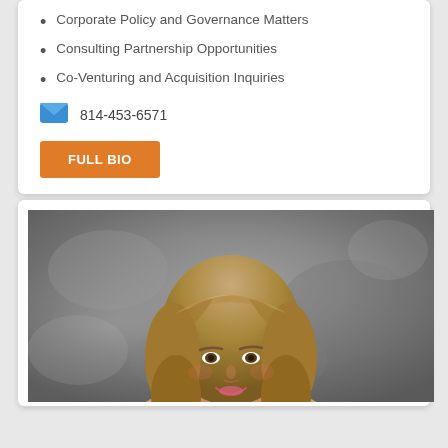Corporate Policy and Governance Matters
Consulting Partnership Opportunities
Co-Venturing and Acquisition Inquiries
814-453-6571
FULL BIO
[Figure (photo): Professional headshot of a smiling woman with medium-length layered brown/blonde hair, photographed against a grey mottled background]